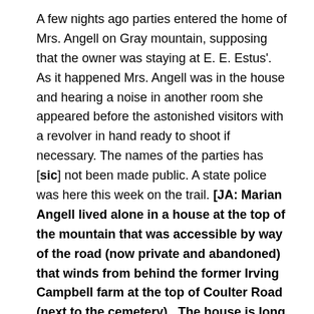A few nights ago parties entered the home of Mrs. Angell on Gray mountain, supposing that the owner was staying at E. E. Estus'. As it happened Mrs. Angell was in the house and hearing a noise in another room she appeared before the astonished visitors with a revolver in hand ready to shoot if necessary. The names of the parties has [sic] not been made public. A state police was here this week on the trail. [JA: Marian Angell lived alone in a house at the top of the mountain that was accessible by way of the road (now private and abandoned) that winds from behind the former Irving Campbell farm at the top of Coulter Road (next to the cemetery). The house is long gone but the foundation